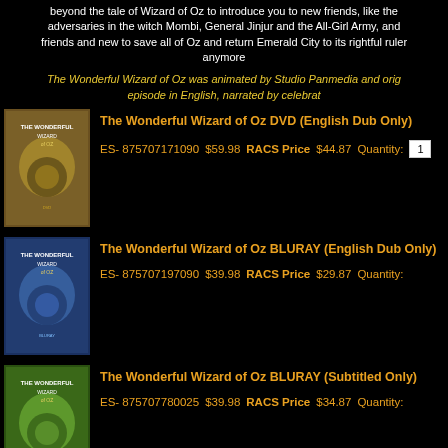beyond the tale of Wizard of Oz to introduce you to new friends, like the adversaries in the witch Mombi, General Jinjur and the All-Girl Army, and friends and new to save all of Oz and return Emerald City to its rightful ruler anymore
The Wonderful Wizard of Oz was animated by Studio Panmedia and orig episode in English, narrated by celebrat
The Wonderful Wizard of Oz DVD (English Dub Only)
ES- 875707171090   $59.98   RACS Price $44.87   Quantity: 1
The Wonderful Wizard of Oz BLURAY (English Dub Only)
ES- 875707197090   $39.98   RACS Price $29.87   Quantity:
The Wonderful Wizard of Oz BLURAY (Subtitled Only)
ES- 875707780025   $39.98   RACS Price $34.87   Quantity: